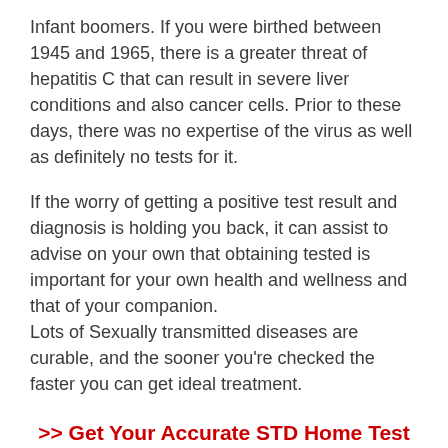Infant boomers. If you were birthed between 1945 and 1965, there is a greater threat of hepatitis C that can result in severe liver conditions and also cancer cells. Prior to these days, there was no expertise of the virus as well as definitely no tests for it.
If the worry of getting a positive test result and diagnosis is holding you back, it can assist to advise on your own that obtaining tested is important for your own health and wellness and that of your companion.
Lots of Sexually transmitted diseases are curable, and the sooner you're checked the faster you can get ideal treatment.
>> Get Your Accurate STD Home Test Kit Here <<